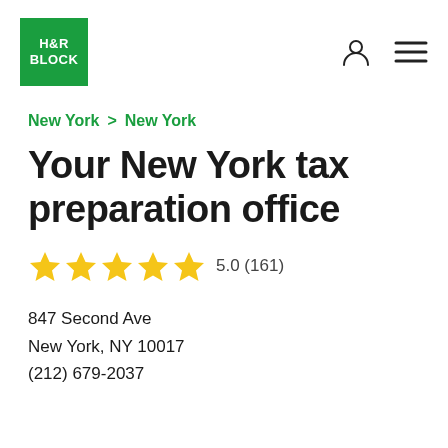H&R BLOCK
New York > New York
Your New York tax preparation office
★★★★★ 5.0 (161)
847 Second Ave
New York, NY 10017
(212) 679-2037